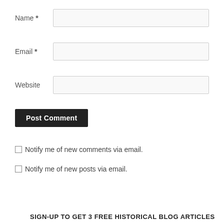Name *
Email *
Website
Post Comment
Notify me of new comments via email.
Notify me of new posts via email.
SIGN-UP TO GET 3 FREE HISTORICAL BLOG ARTICLES